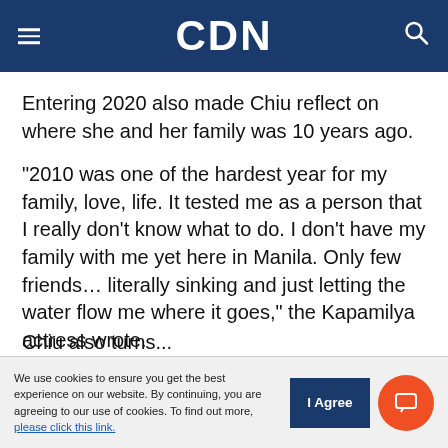CDN
Entering 2020 also made Chiu reflect on where she and her family was 10 years ago.
“2010 was one of the hardest year for my family, love, life. It tested me as a person that I really don’t know what to do. I don’t have my family with me yet here in Manila. Only few friends… literally sinking and just letting the water flow me where it goes,” the Kapamilya actress wrote.
Chiu also turns...
We use cookies to ensure you get the best experience on our website. By continuing, you are agreeing to our use of cookies. To find out more, please click this link.